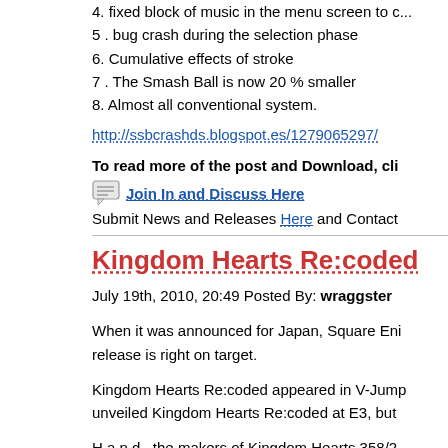4. fixed block of music in the menu screen to c...
5 . bug crash during the selection phase
6. Cumulative effects of stroke
7 . The Smash Ball is now 20 % smaller
8. Almost all conventional system.
http://ssbcrashds.blogspot.es/1279065297/
To read more of the post and Download, cli...
Join In and Discuss Here
Submit News and Releases Here and Contact...
Kingdom Hearts Re:coded
July 19th, 2010, 20:49 Posted By: wraggster
When it was announced for Japan, Square En... release is right on target.
Kingdom Hearts Re:coded appeared in V-Jump... unveiled Kingdom Hearts Re:coded at E3, but...
H.a.n.d., the makers of Kingdom Hearts 358/2... adds elements from Kingdom Hearts: Birth by ... of Sora explores Jiminy Cricket's computer bug...
http://www.siliconera.com/2010/07/19/...ed-in-o...